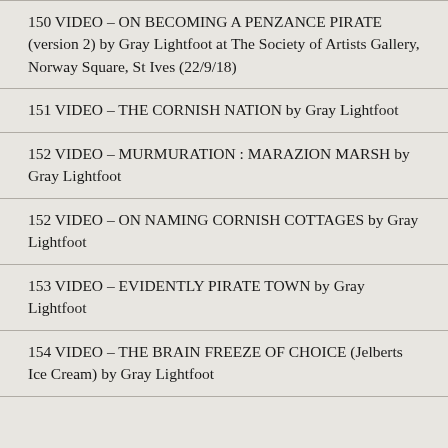150 VIDEO – ON BECOMING A PENZANCE PIRATE (version 2) by Gray Lightfoot at The Society of Artists Gallery, Norway Square, St Ives (22/9/18)
151 VIDEO – THE CORNISH NATION by Gray Lightfoot
152 VIDEO – MURMURATION : MARAZION MARSH by Gray Lightfoot
152 VIDEO – ON NAMING CORNISH COTTAGES by Gray Lightfoot
153 VIDEO – EVIDENTLY PIRATE TOWN by Gray Lightfoot
154 VIDEO – THE BRAIN FREEZE OF CHOICE (Jelberts Ice Cream) by Gray Lightfoot